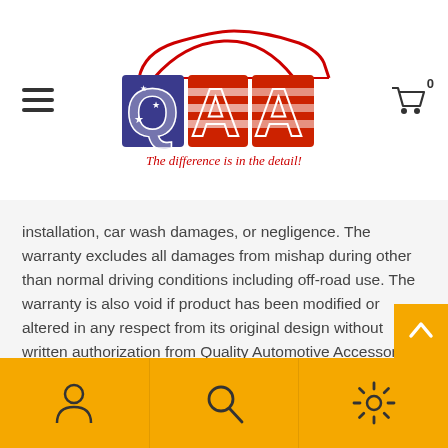[Figure (logo): QAA logo with car silhouette, American flag design in letters Q, A, A, and red script text 'The difference is in the detail!']
installation, car wash damages, or negligence. The warranty excludes all damages from mishap during other than normal driving conditions including off-road use. The warranty is also void if product has been modified or altered in any respect from its original design without written authorization from Quality Automotive Accessories, Inc.
For ALL warranty claims please contact QAA directly at: (800) 343-8329.